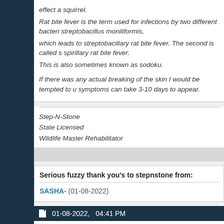effect a squirrel. Rat bite fever is the term used for infections by two different bacteria streptobacillus moniliformis, which leads to streptobacillary rat bite fever. The second is called s spirillary rat bite fever. This is also sometimes known as sodoku.
If there was any actual breaking of the skin I would be tempted to u symptoms can take 3-10 days to appear.
Step-N-Stone
State Licensed
Wildlife Master Rehabilitator
Serious fuzzy thank you's to stepnstone from:
SASHA- (01-08-2022)
01-08-2022,   04:41 PM
SASHA-